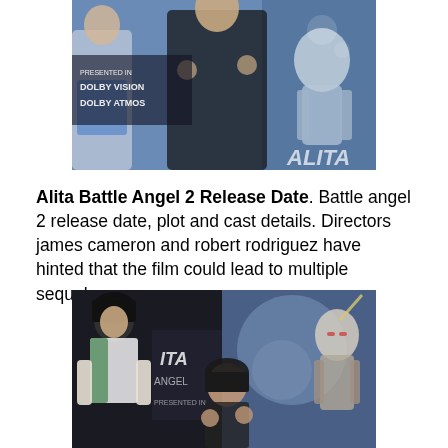[Figure (photo): Photo from Alita Battle Angel movie premiere showing people posing in front of Dolby Vision / Dolby Atmos banner with Alita movie poster backdrop]
Alita Battle Angel 2 Release Date. Battle angel 2 release date, plot and cast details. Directors james cameron and robert rodriguez have hinted that the film could lead to multiple sequels.
[Figure (photo): Photo from Alita Battle Angel movie premiere showing a cosplayer dressed as Alita with bandaged arms and a woman posing in front of an ALITA ANGEL banner with Alita movie poster]